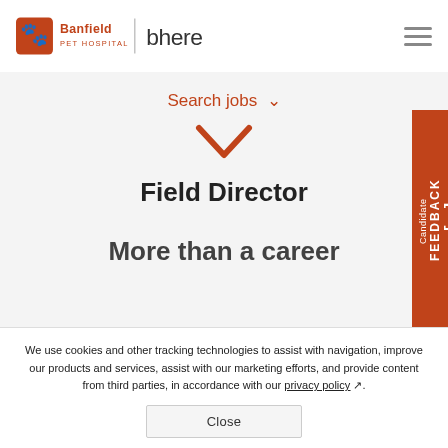[Figure (logo): Banfield Pet Hospital logo with orange paw/cross icon and orange text, plus vertical divider and 'bhere' text in dark gray]
Search jobs ∨
[Figure (other): Orange downward chevron arrow]
Field Director
More than a career
[Figure (other): Candidate FEEDBACK vertical tab on right side, orange background]
We use cookies and other tracking technologies to assist with navigation, improve our products and services, assist with our marketing efforts, and provide content from third parties, in accordance with our privacy policy.
Close